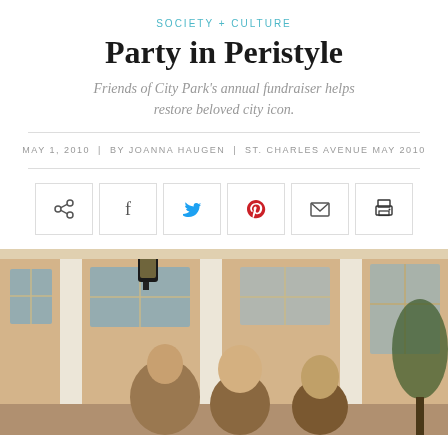SOCIETY + CULTURE
Party in Peristyle
Friends of City Park's annual fundraiser helps restore beloved city icon.
MAY 1, 2010  |  BY JOANNA HAUGEN  |  ST. CHARLES AVENUE MAY 2010
[Figure (other): Social media share buttons: share, Facebook, Twitter, Pinterest, email, print]
[Figure (photo): People standing in front of a building with white columns and a lantern, at an outdoor event]